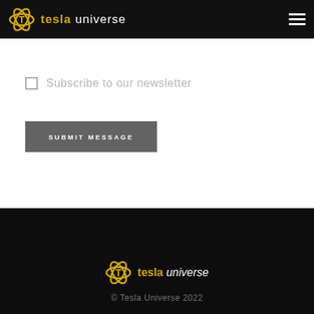tesla universe
Subscribe to our newsletter
SUBMIT MESSAGE
© Tesla Universe 2022